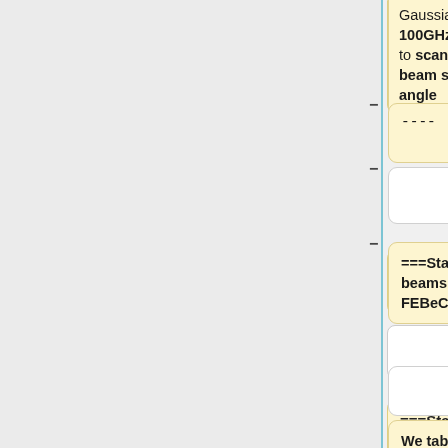Gaussian for 100GHz relative to scanning beam solid angle  ]]
----
===Statistics of the effective beams computed using FEBeCoP===
We tabulate the simple statistics of FWHM, ellipticity, orientation and